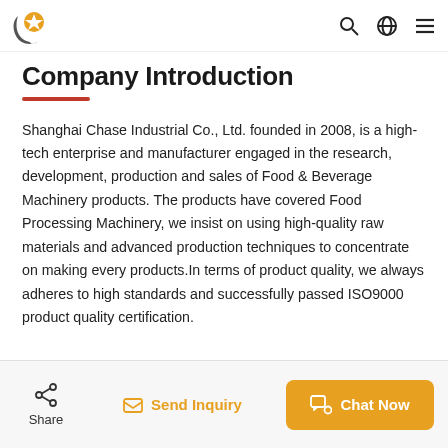Company Introduction
Company Introduction
Shanghai Chase Industrial Co., Ltd. founded in 2008, is a high-tech enterprise and manufacturer engaged in the research, development, production and sales of Food & Beverage Machinery products. The products have covered Food Processing Machinery, we insist on using high-quality raw materials and advanced production techniques to concentrate on making every products.In terms of product quality, we always adheres to high standards and successfully passed ISO9000 product quality certification.
Share | Send Inquiry | Chat Now